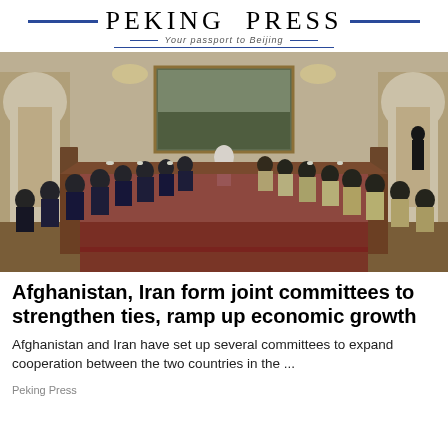PEKING PRESS — Your passport to Beijing
[Figure (photo): A large formal meeting room with a long rectangular table arrangement. Delegates from two sides sit facing each other. The room has ornate architecture with arched doorways, chandeliers, and a large landscape painting on the back wall. A figure stands at the head of the table.]
Afghanistan, Iran form joint committees to strengthen ties, ramp up economic growth
Afghanistan and Iran have set up several committees to expand cooperation between the two countries in the ...
Peking Press